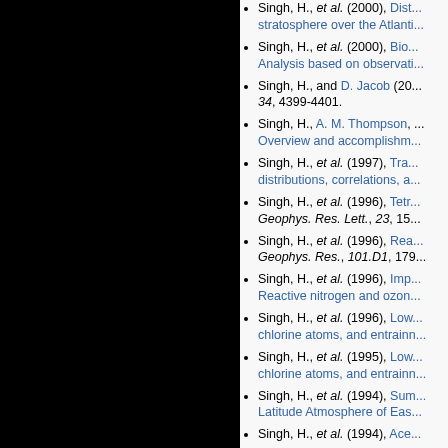[Figure (photo): Dark/black background with faint stars or light specks, occupying the left portion of the page.]
Singh, H., et al. (2000), Distribution of reactive nitrogen in the remote troposphere and stratosphere over the Atlantic Ocean...
Singh, H., et al. (2000), Biomass burning...Analysis based on observations...
Singh, H., and D. Jacob (20...), ...34, 4399-4401.
Singh, H., A. M. Thompson, ...Overview and accomplishments...
Singh, H., et al. (1997), Trace...distributions, correlations, a...
Singh, H., et al. (1996), Tetr... Geophys. Res. Lett., 23, 15...
Singh, H., et al. (1996), Rea... Geophys. Res., 101.D1, 179...
Singh, H., et al. (1996), Imp... Reactive nitrogen and ozone...
Singh, H., et al. (1996), Low...chlorine atoms, and entrainn...
Singh, H., et al. (1995), Low...chlorine atoms, and entrainn...
Singh, H., et al. (1994), Sum...Latitude Atmosphere of Eas...
Singh, H., et al. (1994), Ace...
Singh, H., and M. Kanakido... Geophys. Res. Lett., 20, 13...